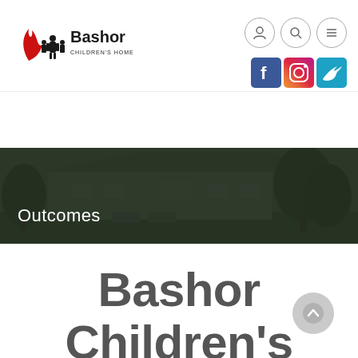[Figure (logo): Bashor Children's Home logo with flame icon and silhouette of adult with children]
[Figure (screenshot): Three navigation icon circles: person icon, search icon, menu/list icon]
[Figure (screenshot): Social media icons: Facebook (blue), Instagram (gradient), Twitter (teal)]
[Figure (photo): Dark-toned banner photo of a building with trees, overlaid with text 'Outcomes']
Bashor Children’s Home